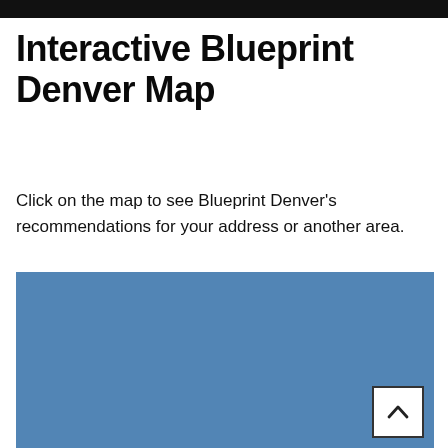Interactive Blueprint Denver Map
Click on the map to see Blueprint Denver's recommendations for your address or another area.
[Figure (map): Interactive Blueprint Denver map showing a blue shaded area representing a map placeholder with a scroll-to-top button in the lower right corner.]